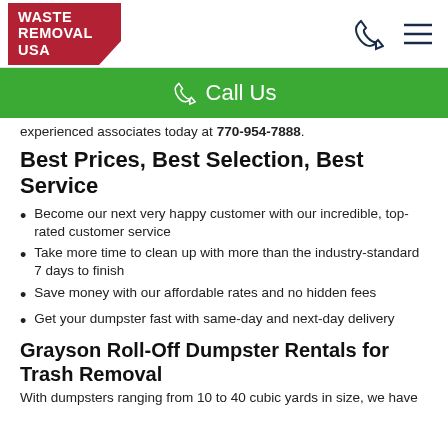Waste Removal USA
experienced associates today at 770-954-7888.
Best Prices, Best Selection, Best Service
Become our next very happy customer with our incredible, top-rated customer service
Take more time to clean up with more than the industry-standard 7 days to finish
Save money with our affordable rates and no hidden fees
Get your dumpster fast with same-day and next-day delivery
Grayson Roll-Off Dumpster Rentals for Trash Removal
With dumpsters ranging from 10 to 40 cubic yards in size, we have